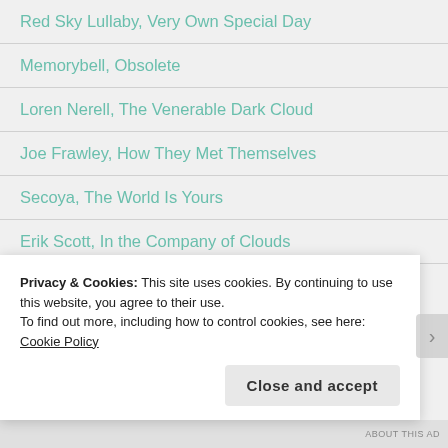Red Sky Lullaby, Very Own Special Day
Memorybell, Obsolete
Loren Nerell, The Venerable Dark Cloud
Joe Frawley, How They Met Themselves
Secoya, The World Is Yours
Erik Scott, In the Company of Clouds
INTO THE LIBRARY
Privacy & Cookies: This site uses cookies. By continuing to use this website, you agree to their use.
To find out more, including how to control cookies, see here: Cookie Policy
Close and accept